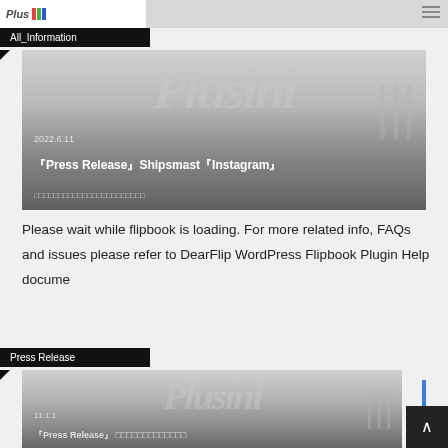Plus1 All_Information
All_Information
[Figure (screenshot): Article thumbnail with Plusini watermark logo, date 2022.6.11, title [Press Release]Shipsmast[Instagram] with Japanese subtitle text]
『Press Release』Shipsmast『Instagram』
Please wait while flipbook is loading. For more related info, FAQs and issues please refer to DearFlip WordPress Flipbook Plugin Help docume
Press Release
[Figure (screenshot): Second article thumbnail with Plusini watermark logo, date shown, title partially visible [Press Release] with Japanese text]